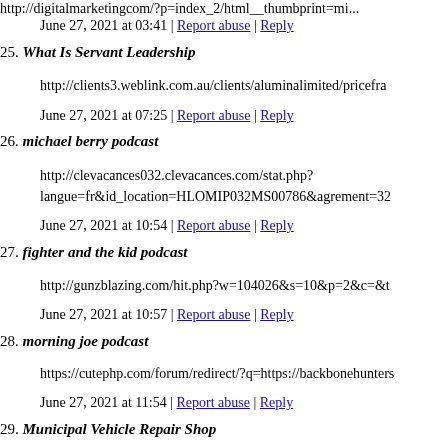http://digitalmarketingcom/?p=index_2/html__thumbprint=mi...
June 27, 2021 at 03:41 | Report abuse | Reply
25. What Is Servant Leadership
http://clients3.weblink.com.au/clients/aluminalimited/pricefra...
June 27, 2021 at 07:25 | Report abuse | Reply
26. michael berry podcast
http://clevacances032.clevacances.com/stat.php?langue=fr&id_location=HLOMIP032MS00786&agrement=32...
June 27, 2021 at 10:54 | Report abuse | Reply
27. fighter and the kid podcast
http://gunzblazing.com/hit.php?w=104026&s=10&p=2&c=&t...
June 27, 2021 at 10:57 | Report abuse | Reply
28. morning joe podcast
https://cutephp.com/forum/redirect/?q=https://backbonehunters...
June 27, 2021 at 11:54 | Report abuse | Reply
29. Municipal Vehicle Repair Shop
http://www.somethingsweet.com/__media__/is/netsoltradema...